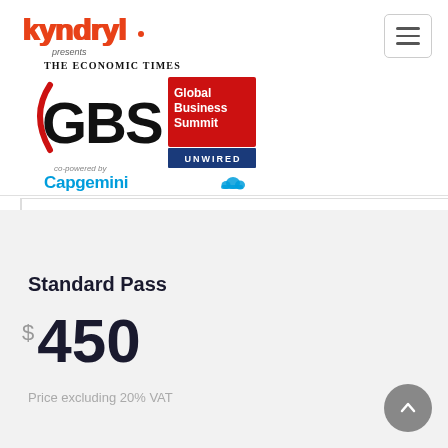[Figure (logo): Kyndryl logo in red/coral color with 'presents' text below]
[Figure (logo): The Economic Times GBS Global Business Summit Unwired logo with red and blue boxes, co-powered by Capgemini]
[Figure (screenshot): Menu/hamburger button icon in top right corner]
Standard Pass
$450
Price excluding 20% VAT